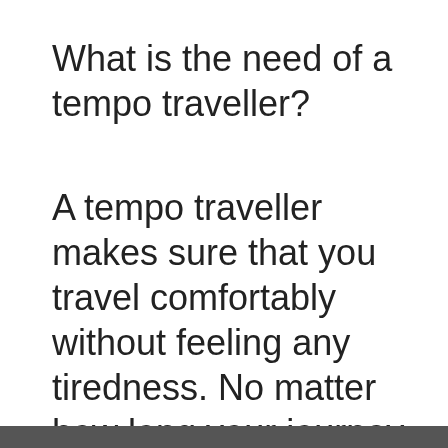What is the need of a tempo traveller?
A tempo traveller makes sure that you travel comfortably without feeling any tiredness. No matter how long your journey is the vehicle makes sure that you will enjoy a perfect journey.